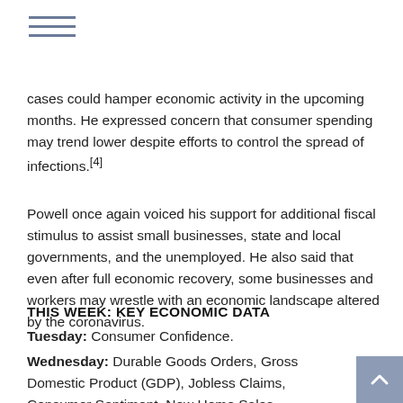menu icon (hamburger)
cases could hamper economic activity in the upcoming months. He expressed concern that consumer spending may trend lower despite efforts to control the spread of infections.[4]
Powell once again voiced his support for additional fiscal stimulus to assist small businesses, state and local governments, and the unemployed. He also said that even after full economic recovery, some businesses and workers may wrestle with an economic landscape altered by the coronavirus.
THIS WEEK: KEY ECONOMIC DATA
Tuesday: Consumer Confidence.
Wednesday: Durable Goods Orders, Gross Domestic Product (GDP), Jobless Claims, Consumer Sentiment, New Home Sales.